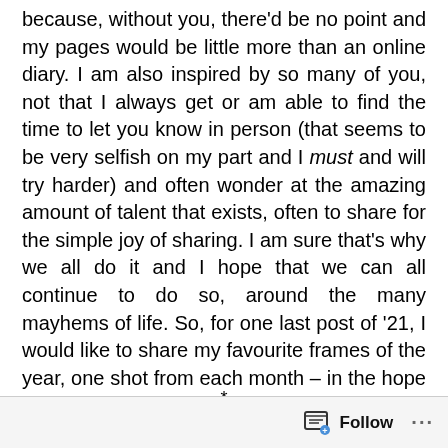because, without you, there'd be no point and my pages would be little more than an online diary. I am also inspired by so many of you, not that I always get or am able to find the time to let you know in person (that seems to be very selfish on my part and I must and will try harder) and often wonder at the amazing amount of talent that exists, often to share for the simple joy of sharing. I am sure that's why we all do it and I hope that we can all continue to do so, around the many mayhems of life. So, for one last post of '21, I would like to share my favourite frames of the year, one shot from each month – in the hope that you too will enjoy this little revisit.
*
Follow ···